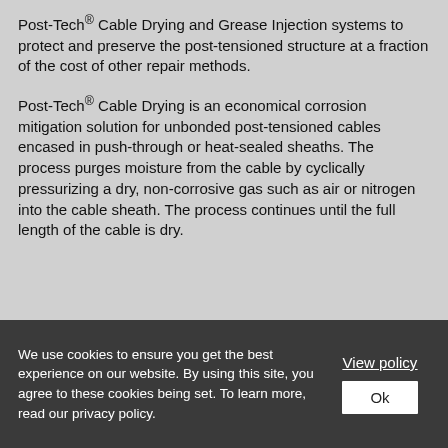Post-Tech® Cable Drying and Grease Injection systems to protect and preserve the post-tensioned structure at a fraction of the cost of other repair methods.
Post-Tech® Cable Drying is an economical corrosion mitigation solution for unbonded post-tensioned cables encased in push-through or heat-sealed sheaths. The process purges moisture from the cable by cyclically pressurizing a dry, non-corrosive gas such as air or nitrogen into the cable sheath. The process continues until the full length of the cable is dry.
We use cookies to ensure you get the best experience on our website. By using this site, you agree to these cookies being set. To learn more, read our privacy policy.
View policy
Ok